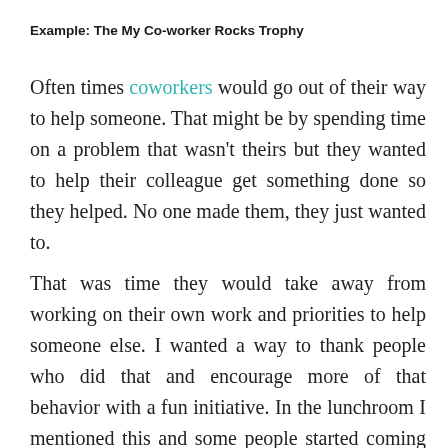Example: The My Co-worker Rocks Trophy
Often times coworkers would go out of their way to help someone. That might be by spending time on a problem that wasn't theirs but they wanted to help their colleague get something done so they helped. No one made them, they just wanted to.
That was time they would take away from working on their own work and priorities to help someone else. I wanted a way to thank people who did that and encourage more of that behavior with a fun initiative. In the lunchroom I mentioned this and some people started coming up with some ideas.